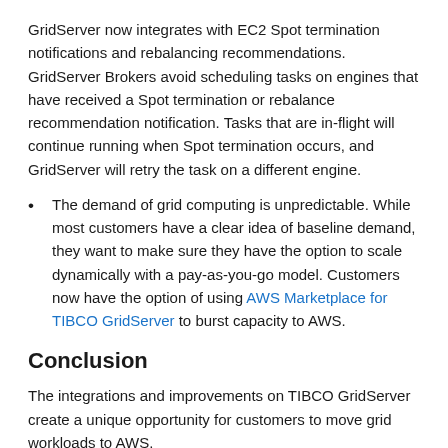GridServer now integrates with EC2 Spot termination notifications and rebalancing recommendations. GridServer Brokers avoid scheduling tasks on engines that have received a Spot termination or rebalance recommendation notification. Tasks that are in-flight will continue running when Spot termination occurs, and GridServer will retry the task on a different engine.
The demand of grid computing is unpredictable. While most customers have a clear idea of baseline demand, they want to make sure they have the option to scale dynamically with a pay-as-you-go model. Customers now have the option of using AWS Marketplace for TIBCO GridServer to burst capacity to AWS.
Conclusion
The integrations and improvements on TIBCO GridServer create a unique opportunity for customers to move grid workloads to AWS.